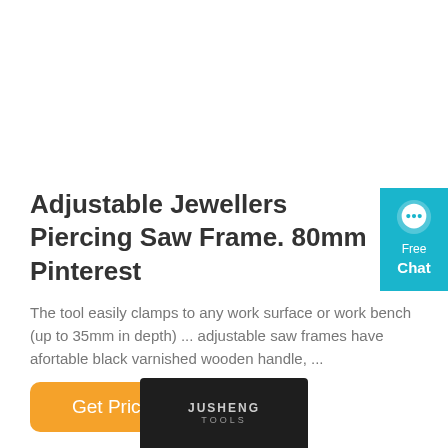Adjustable Jewellers Piercing Saw Frame. 80mm Pinterest
The tool easily clamps to any work surface or work bench (up to 35mm in depth) ... adjustable saw frames have afortable black varnished wooden handle, ...
[Figure (other): Orange 'Get Price' button]
[Figure (other): Chat widget with speech bubble icon, cyan/teal background, 'Free Chat' text]
[Figure (photo): Product image showing JUSHENG TOOLS branded saw frame on dark packaging]